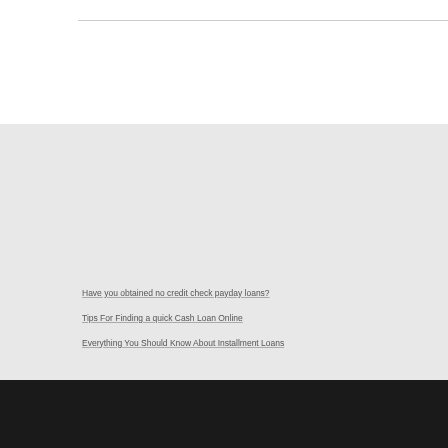Have you obtained no credit check payday loans?
Tips For Finding a quick Cash Loan Online
Everything You Should Know About Installment Loans
PROUDLY POWERED BY WORDPRESS ·